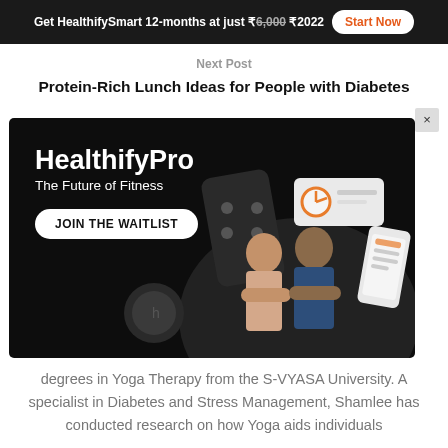Get HealthifySmart 12-months at just ₹6,000 ₹2022  Start Now
Next Post
Protein-Rich Lunch Ideas for People with Diabetes
[Figure (illustration): HealthifyPro advertisement on black background showing 'HealthifyPro - The Future of Fitness' with a JOIN THE WAITLIST button, fitness devices, and two people (a man and a woman with crossed arms)]
degrees in Yoga Therapy from the S-VYASA University. A specialist in Diabetes and Stress Management, Shamlee has conducted research on how Yoga aids individuals